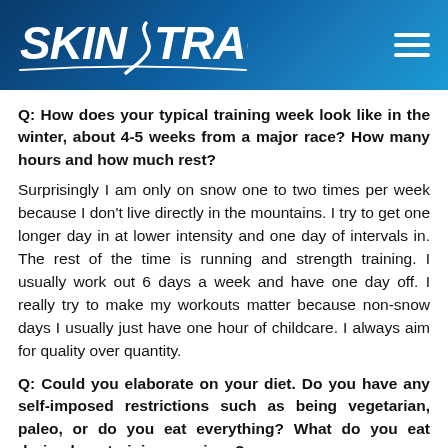SKIN TRACK
Q: How does your typical training week look like in the winter, about 4-5 weeks from a major race? How many hours and how much rest?
Surprisingly I am only on snow one to two times per week because I don't live directly in the mountains. I try to get one longer day in at lower intensity and one day of intervals in. The rest of the time is running and strength training. I usually work out 6 days a week and have one day off. I really try to make my workouts matter because non-snow days I usually just have one hour of childcare. I always aim for quality over quantity.
Q: Could you elaborate on your diet. Do you have any self-imposed restrictions such as being vegetarian, paleo, or do you eat everything? What do you eat during long training sessions?